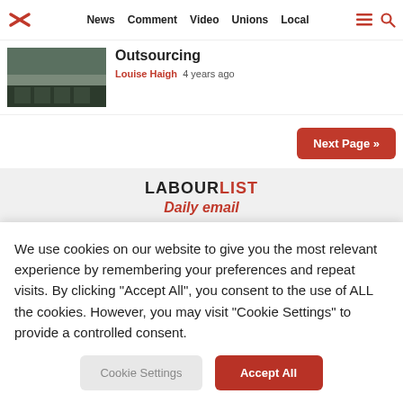News  Comment  Video  Unions  Local
[Figure (screenshot): Thumbnail image of a building, likely related to outsourcing article]
Outsourcing
Louise Haigh  4 years ago
Next Page »
LABOURLIST
Daily email
We use cookies on our website to give you the most relevant experience by remembering your preferences and repeat visits. By clicking "Accept All", you consent to the use of ALL the cookies. However, you may visit "Cookie Settings" to provide a controlled consent.